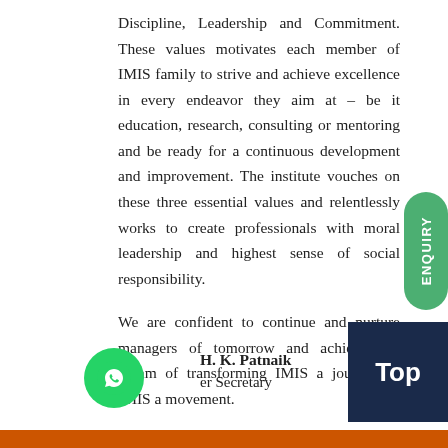Discipline, Leadership and Commitment. These values motivates each member of IMIS family to strive and achieve excellence in every endeavor they aim at – be it education, research, consulting or mentoring and be ready for a continuous development and improvement. The institute vouches on these three essential values and relentlessly works to create professionals with moral leadership and highest sense of social responsibility.

We are confident to continue and nurture managers of tomorrow and achieve our dream of transforming IMIS a journey to IMIS a movement.
H. K. Patnaik
er Secretary